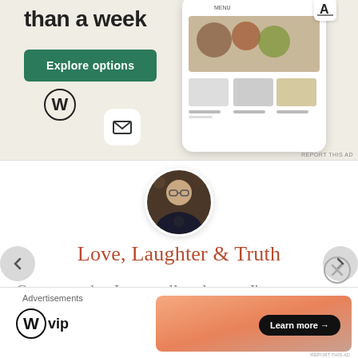[Figure (screenshot): WordPress website builder ad banner with 'than a week' headline, Explore options green button, WordPress logo, mail icon, and phone mockup showing restaurant website]
[Figure (photo): Circular profile photo of a person wearing glasses and a dark shirt, sitting in what appears to be a cafe]
Love, Laughter & Truth
Great post that I can really relate to, I've gone through many of the same thoughts and feelings. I've actually
[Figure (infographic): Bottom advertisement banner with WordPress VIP logo on the left and a gradient orange/pink banner with 'Learn more' button on the right]
Advertisements